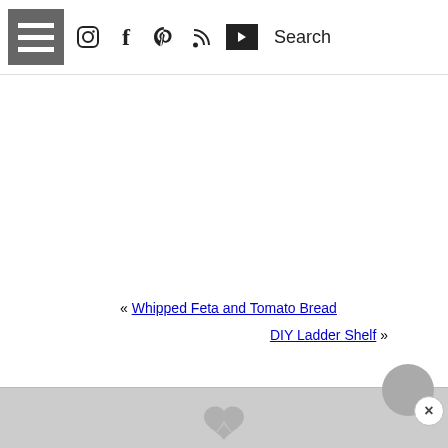☰ Instagram Facebook Pinterest RSS YouTube Search
« Whipped Feta and Tomato Bread
DIY Ladder Shelf »